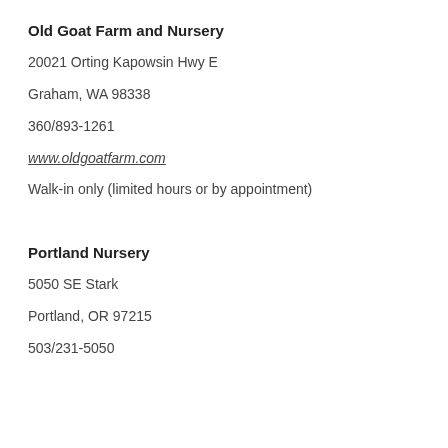Old Goat Farm and Nursery
20021 Orting Kapowsin Hwy E
Graham, WA 98338
360/893-1261
www.oldgoatfarm.com
Walk-in only (limited hours or by appointment)
Portland Nursery
5050 SE Stark
Portland, OR 97215
503/231-5050